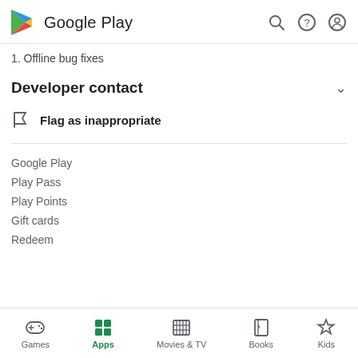Google Play
1. Offline bug fixes
Developer contact
Flag as inappropriate
Google Play
Play Pass
Play Points
Gift cards
Redeem
Games  Apps  Movies & TV  Books  Kids